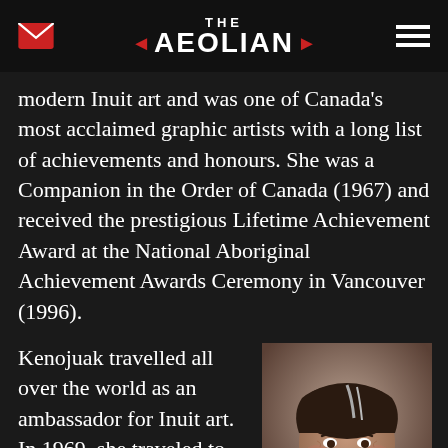THE AEOLIAN
modern Inuit art and was one of Canada's most acclaimed graphic artists with a long list of achievements and honours. She was a Companion in the Order of Canada (1967) and received the prestigious Lifetime Achievement Award at the National Aboriginal Achievement Awards Ceremony in Vancouver (1996).
Kenojuak travelled all over the world as an ambassador for Inuit art. In 1969, she traveled to Ottawa to
[Figure (photo): Portrait photo of an elderly Indigenous woman with grey-streaked dark hair, smiling warmly, wearing a light blue/grey vest or jacket]